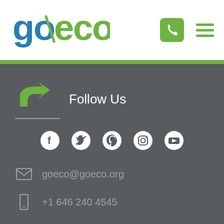[Figure (logo): goeco logo in blue and green]
Follow Us
[Figure (infographic): Social media icons: Facebook, Twitter, Pinterest, Instagram, YouTube]
goeco@goeco.org
+1 646 240 4545